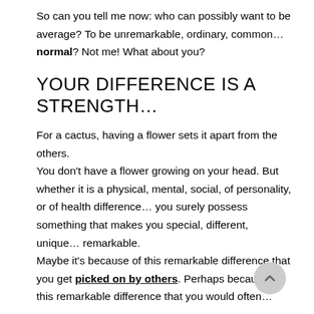So can you tell me now: who can possibly want to be average? To be unremarkable, ordinary, common... normal? Not me! What about you?
YOUR DIFFERENCE IS A STRENGTH...
For a cactus, having a flower sets it apart from the others. You don't have a flower growing on your head. But whether it is a physical, mental, social, of personality, or of health difference... you surely possess something that makes you special, different, unique... remarkable. Maybe it's because of this remarkable difference that you get picked on by others. Perhaps because of this remarkable difference that you would often...